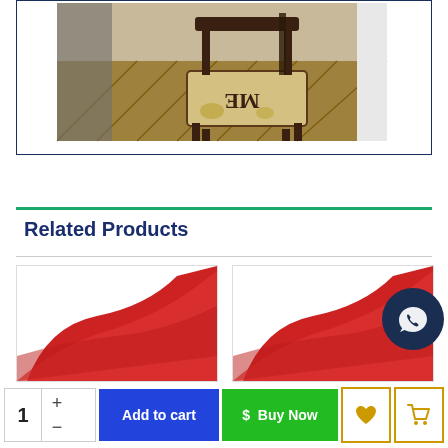[Figure (photo): Photo of a rustic wooden chair with text 'ME' on the back, viewed from an angle showing hardwood floor background, inside a bordered product image box.]
Related Products
[Figure (photo): Product card showing red fabric/cloth item on the left.]
[Figure (photo): Product card showing red fabric/cloth item on the right.]
[Figure (other): WhatsApp chat button (dark circle with chat bubble icon).]